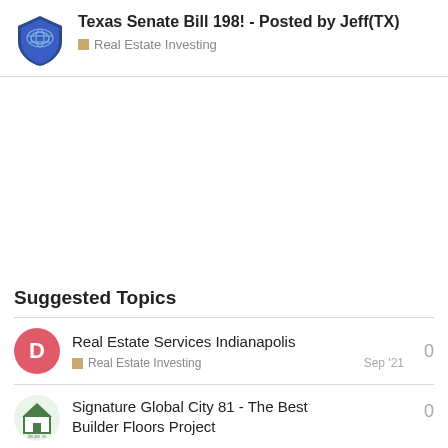Texas Senate Bill 198! - Posted by Jeff(TX)
Real Estate Investing
Suggested Topics
Real Estate Services Indianapolis
Real Estate Investing
0
Sep '21
Signature Global City 81 - The Best Builder Floors Project
0